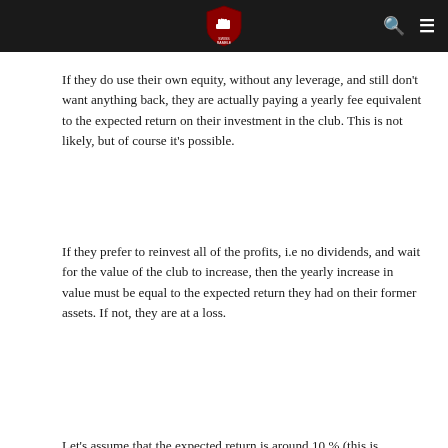[Navigation bar with logo, search icon, and menu icon]
If they do use their own equity, without any leverage, and still don't want anything back, they are actually paying a yearly fee equivalent to the expected return on their investment in the club. This is not likely, but of course it's possible.
If they prefer to reinvest all of the profits, i.e no dividends, and wait for the value of the club to increase, then the yearly increase in value must be equal to the expected return they had on their former assets. If not, they are at a loss.
Let's assume that the expected return is around 10 % (this is probably a little bit low,